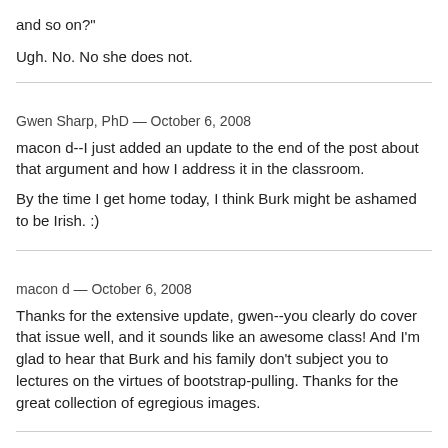and so on?"
Ugh. No. No she does not.
Gwen Sharp, PhD — October 6, 2008
macon d--I just added an update to the end of the post about that argument and how I address it in the classroom.
By the time I get home today, I think Burk might be ashamed to be Irish. :)
macon d — October 6, 2008
Thanks for the extensive update, gwen--you clearly do cover that issue well, and it sounds like an awesome class! And I'm glad to hear that Burk and his family don't subject you to lectures on the virtues of bootstrap-pulling. Thanks for the great collection of egregious images.